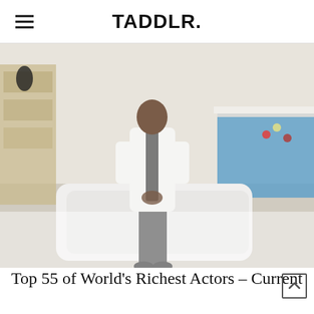TADDLR.
[Figure (photo): A person dressed in a white jacket and dark trousers leaning against a white billiard table with a blue felt surface. The room has shelving units and a bright interior decor.]
Top 55 of World's Richest Actors – Current Net Worth